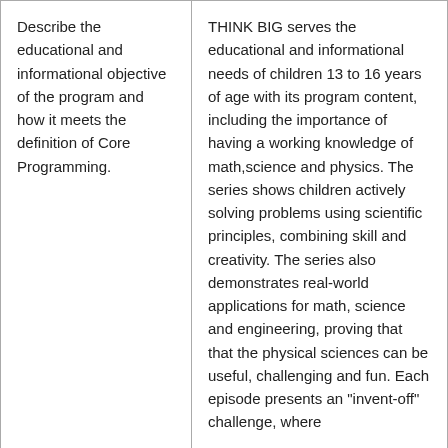| Describe the educational and informational objective of the program and how it meets the definition of Core Programming. | THINK BIG serves the educational and informational needs of children 13 to 16 years of age with its program content, including the importance of having a working knowledge of math,science and physics. The series shows children actively solving problems using scientific principles, combining skill and creativity. The series also demonstrates real-world applications for math, science and engineering, proving that that the physical sciences can be useful, challenging and fun. Each episode presents an "invent-off" challenge, where |